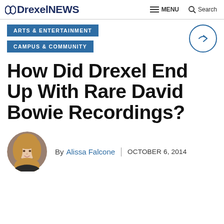Drexel NEWS  MENU  Search
ARTS & ENTERTAINMENT
CAMPUS & COMMUNITY
How Did Drexel End Up With Rare David Bowie Recordings?
By Alissa Falcone  |  OCTOBER 6, 2014
[Figure (photo): Circular author headshot of Alissa Falcone, a woman with long curly blonde hair]